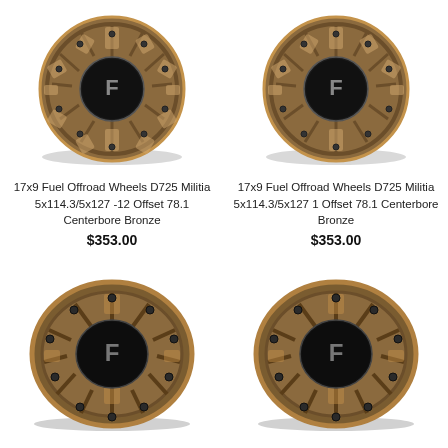[Figure (photo): Bronze Fuel Offroad wheel D725 Militia, angled view showing spokes and black center cap with F logo]
[Figure (photo): Bronze Fuel Offroad wheel D725 Militia, angled view showing spokes and black center cap with F logo]
17x9 Fuel Offroad Wheels D725 Militia 5x114.3/5x127 -12 Offset 78.1 Centerbore Bronze
17x9 Fuel Offroad Wheels D725 Militia 5x114.3/5x127 1 Offset 78.1 Centerbore Bronze
$353.00
$353.00
[Figure (photo): Bronze Fuel Offroad wheel D725 Militia, front/slightly angled view showing deep dish and black center cap with F logo]
[Figure (photo): Bronze Fuel Offroad wheel D725 Militia, front/slightly angled view showing deep dish and black center cap with F logo]